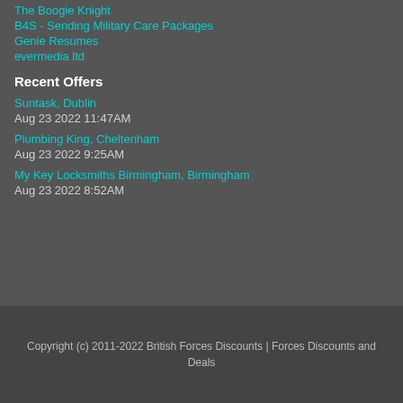The Boogie Knight
B4S - Sending Military Care Packages
Genie Resumes
evermedia ltd
Recent Offers
Suntask, Dublin
Aug 23 2022 11:47AM
Plumbing King, Cheltenham
Aug 23 2022 9:25AM
My Key Locksmiths Birmingham, Birmingham
Aug 23 2022 8:52AM
Copyright (c) 2011-2022 British Forces Discounts | Forces Discounts and Deals